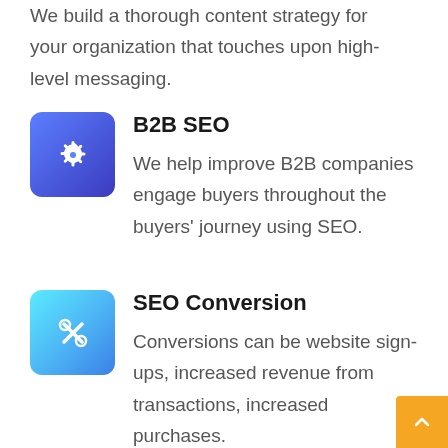We build a thorough content strategy for your organization that touches upon high-level messaging.
B2B SEO
We help improve B2B companies engage buyers throughout the buyers' journey using SEO.
SEO Conversion
Conversions can be website sign-ups, increased revenue from transactions, increased purchases.